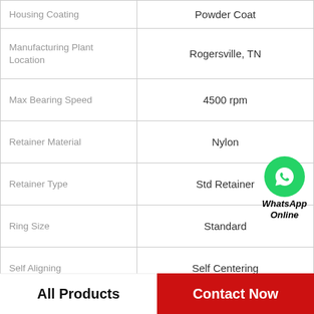| Property | Value |
| --- | --- |
| Housing Coating | Powder Coat |
| Manufacturing Plant Location | Rogersville, TN |
| Max Bearing Speed | 4500 rpm |
| Retainer Material | Nylon |
| Retainer Type | Std Retainer |
| Ring Size | Standard |
| Self Aligning | Self Centering |
| Shaft Attachment (2) | Set Screw |
|  |  |
[Figure (logo): WhatsApp Online green phone badge with circle icon and bold italic text]
All Products
Contact Now